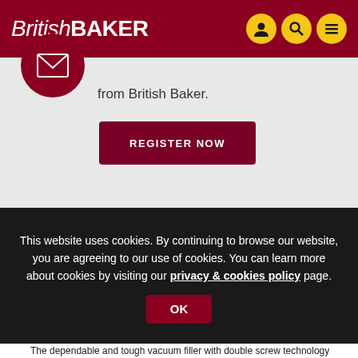British Baker
[Figure (logo): British Baker website header with logo and navigation icons (user, search, menu) on dark red background]
from British Baker.
REGISTER NOW
This website uses cookies. By continuing to browse our website, you are agreeing to our use of cookies. You can learn more about cookies by visiting our privacy & cookies policy page.
OK
The dependable and tough vacuum filler with double screw technology provides